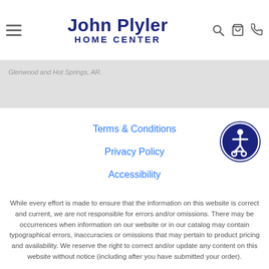[Figure (logo): John Plyler Home Center logo with hamburger menu, search, cart, and phone icons in the header]
Glenwood and Hot Springs, AR.
Terms & Conditions
Privacy Policy
Accessibility
[Figure (illustration): Accessibility icon - circular dark blue button with person in wheelchair symbol]
While every effort is made to ensure that the information on this website is correct and current, we are not responsible for errors and/or omissions. There may be occurrences when information on our website or in our catalog may contain typographical errors, inaccuracies or omissions that may pertain to product pricing and availability. We reserve the right to correct and/or update any content on this website without notice (including after you have submitted your order).